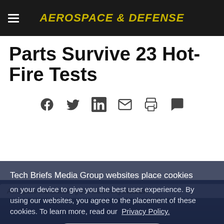AEROSPACE & DEFENSE
Parts Survive 23 Hot-Fire Tests
[Figure (infographic): Social sharing icons row: Facebook, Twitter, LinkedIn, Email, Print, Comment]
Aerospace Manufacturing and Machining INSIDER
Tech Briefs Media Group websites place cookies on your device to give you the best user experience. By using our websites, you agree to the placement of these cookies. To learn more, read our Privacy Policy.
Accept & Continue
[Figure (photo): Industrial/manufacturing background photo in dark blue tones at bottom of page]